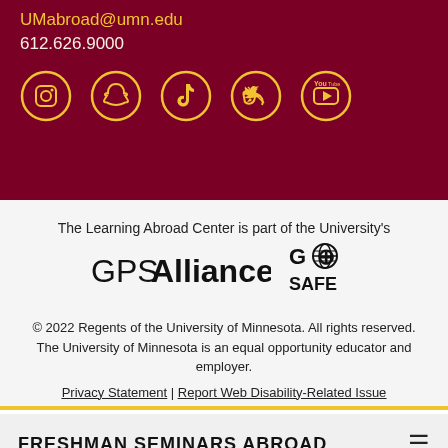UMabroad@umn.edu
612.626.9000
[Figure (illustration): Five social media icons in gold circles on dark red background: Instagram, Snapchat, TikTok, Twitter, YouTube]
The Learning Abroad Center is part of the University's
[Figure (logo): GPS Alliance logo and GO SAFE globe logo side by side]
© 2022 Regents of the University of Minnesota. All rights reserved. The University of Minnesota is an equal opportunity educator and employer.
Privacy Statement | Report Web Disability-Related Issue
FRESHMAN SEMINARS ABROAD